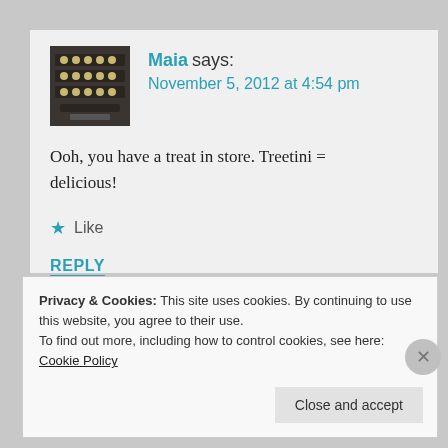Maia says: November 5, 2012 at 4:54 pm
Ooh, you have a treat in store. Treetini = delicious!
★ Like
REPLY
Privacy & Cookies: This site uses cookies. By continuing to use this website, you agree to their use. To find out more, including how to control cookies, see here: Cookie Policy
Close and accept